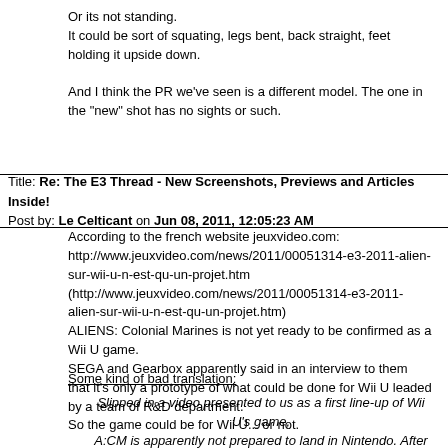Or its not standing.
It could be sort of squating, legs bent, back straight, feet holding it upside down.

And I think the PR we've seen is a different model. The one in the "new" shot has no sights or such.
Title: Re: The E3 Thread - New Screenshots, Previews and Articles Inside!
Post by: Le Celticant on Jun 08, 2011, 12:05:23 AM
According to the french website jeuxvideo.com:
http://www.jeuxvideo.com/news/2011/00051314-e3-2011-alien-sur-wii-u-n-est-qu-un-projet.htm
(http://www.jeuxvideo.com/news/2011/00051314-e3-2011-alien-sur-wii-u-n-est-qu-un-projet.htm)
ALIENS: Colonial Marines is not yet ready to be confirmed as a Wii U game.
SEGA and Gearbox apparently said in an interview to them that it's only a prototype of what could be done for Wii U leaded by a team of R&D department.
So the game could be for Wii U... or not.
Some kind of bad translation:
Slipped in a video presented to us as a first line-up of Wii U's game, A:CM is apparently not prepared to land in Nintendo. After the conference of the makers, SEGA & Gearbox delivered us a strange